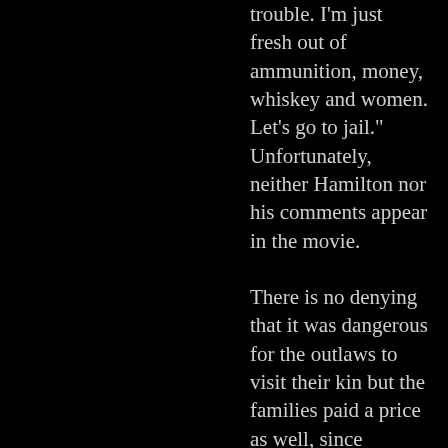trouble. I'm just fresh out of ammunition, money, whiskey and women. Let's go to jail." Unfortunately, neither Hamilton nor his comments appear in the movie.
There is no denying that it was dangerous for the outlaws to visit their kin but the families paid a price as well, since roughly twenty of Bonnie and Clyde's relatives were forced to spend time in jail for harbouring known criminals.